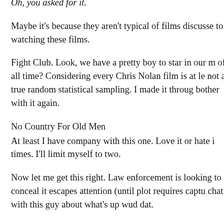Oh, you asked for it.
Maybe it's because they aren't typical of films discussed to watching these films.
Fight Club. Look, we have a pretty boy to star in our m of all time? Considering every Chris Nolan film is at le not a true random statistical sampling. I made it throug bother with it again.
No Country For Old Men
At least I have company with this one. Love it or hate i times. I'll limit myself to two.
Now let me get this right. Law enforcement is looking to conceal it escapes attention (until plot requires captu chat with this guy about what's up wud dat.
Now he's gotten caught. The rookie policeman turns hi